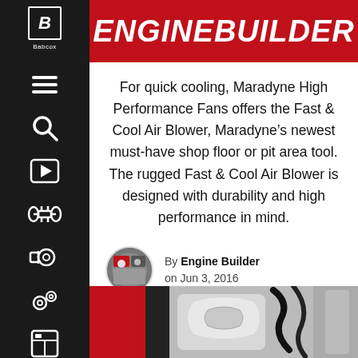ENGINE BUILDER
For quick cooling, Maradyne High Performance Fans offers the Fast & Cool Air Blower, Maradyne’s newest must-have shop floor or pit area tool. The rugged Fast & Cool Air Blower is designed with durability and high performance in mind.
By Engine Builder on Jun 3, 2016
[Figure (photo): Close-up photo of the Fast & Cool Air Blower product showing a handle and hose detail]